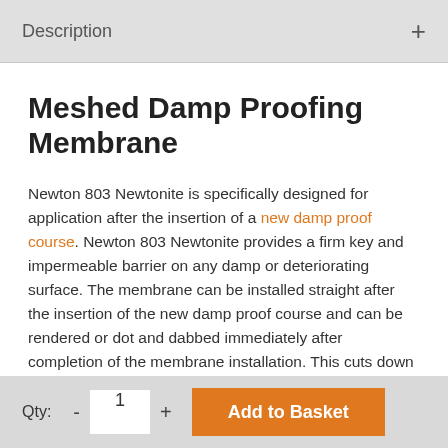Description
Meshed Damp Proofing Membrane
Newton 803 Newtonite is specifically designed for application after the insertion of a new damp proof course. Newton 803 Newtonite provides a firm key and impermeable barrier on any damp or deteriorating surface. The membrane can be installed straight after the insertion of the new damp proof course and can be rendered or dot and dabbed immediately after completion of the membrane installation. This cuts down the time of the remedial work.